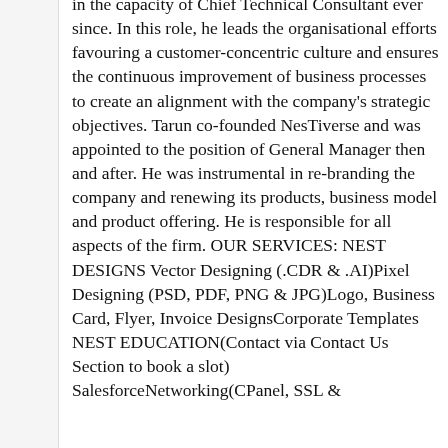in the capacity of Chief Technical Consultant ever since. In this role, he leads the organisational efforts favouring a customer-concentric culture and ensures the continuous improvement of business processes to create an alignment with the company's strategic objectives. Tarun co-founded NesTiverse and was appointed to the position of General Manager then and after. He was instrumental in re-branding the company and renewing its products, business model and product offering. He is responsible for all aspects of the firm. OUR SERVICES: NEST DESIGNS Vector Designing (.CDR & .AI)Pixel Designing (PSD, PDF, PNG & JPG)Logo, Business Card, Flyer, Invoice DesignsCorporate Templates NEST EDUCATION(Contact via Contact Us Section to book a slot) SalesforceNetworking(CPanel, SSL &